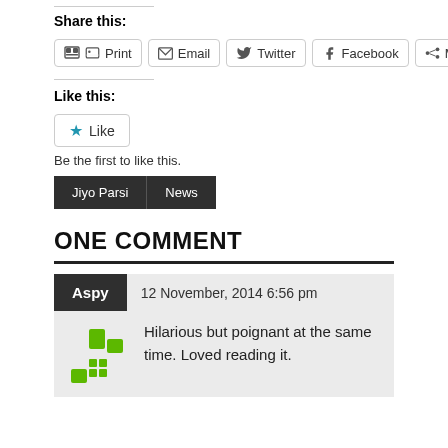Share this:
Print  Email  Twitter  Facebook  More
Like this:
Like
Be the first to like this.
Jiyo Parsi
News
ONE COMMENT
Aspy  12 November, 2014 6:56 pm
Hilarious but poignant at the same time. Loved reading it.